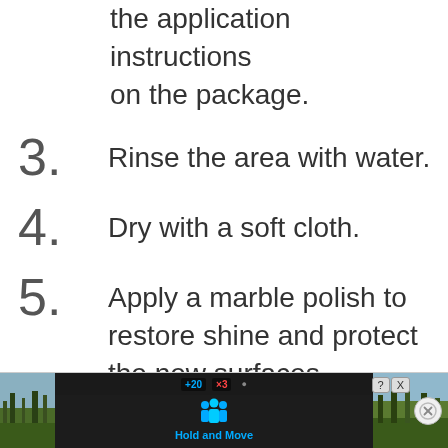the application instructions on the package.
3. Rinse the area with water.
4. Dry with a soft cloth.
5. Apply a marble polish to restore shine and protect the new surfaces.
[Figure (screenshot): Mobile advertisement banner showing 'Hold and Move' app/game with outdoor photo background and close button]